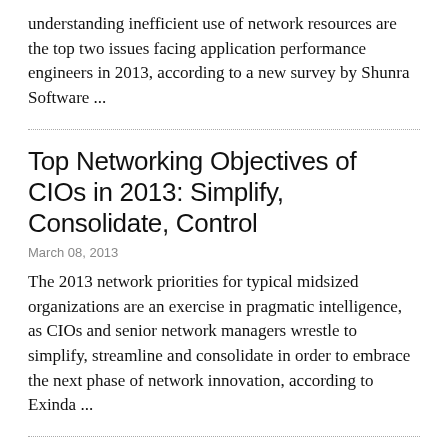understanding inefficient use of network resources are the top two issues facing application performance engineers in 2013, according to a new survey by Shunra Software ...
Top Networking Objectives of CIOs in 2013: Simplify, Consolidate, Control
March 08, 2013
The 2013 network priorities for typical midsized organizations are an exercise in pragmatic intelligence, as CIOs and senior network managers wrestle to simplify, streamline and consolidate in order to embrace the next phase of network innovation, according to Exinda ...
Building Fast Connections Between Sun Kissed and Snow Bound Offices
February 14, 2013
As I dig out from the recent Blizzard of 2013 here in New